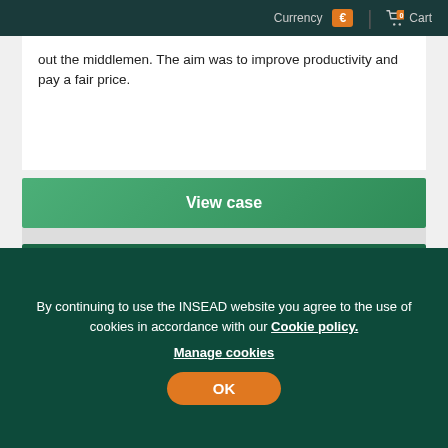Currency € | Cart
out the middlemen. The aim was to improve productivity and pay a fair price.
View case
EMMA Safety Footwear (B): Implementing the Circular Business
Add to cart
By Luk Van Wassenhove,  Published 09 Mar 2021
By continuing to use the INSEAD website you agree to the use of cookies in accordance with our Cookie policy. Manage cookies
OK